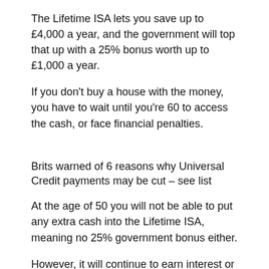The Lifetime ISA lets you save up to £4,000 a year, and the government will top that up with a 25% bonus worth up to £1,000 a year.
If you don't buy a house with the money, you have to wait until you're 60 to access the cash, or face financial penalties.
Brits warned of 6 reasons why Universal Credit payments may be cut – see list
At the age of 50 you will not be able to put any extra cash into the Lifetime ISA, meaning no 25% government bonus either.
However, it will continue to earn interest or investment returns depending on if you have a cash or investment Lifetime ISA.
Help to Buy ISAs are not being offered to new customers, as the Lifetime ISA is meant to take over.